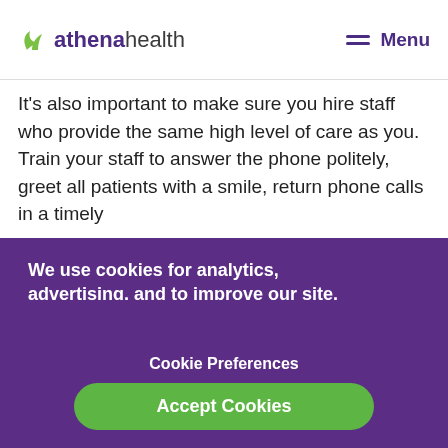athenahealth | Menu
It's also important to make sure you hire staff who provide the same high level of care as you. Train your staff to answer the phone politely, greet all patients with a smile, return phone calls in a timely
We use cookies for analytics, advertising, and to improve our site.
You agree to our use of cookies by closing this box or continuing to use our site. To find out more, see our  Privacy Policy.
Cookie Preferences
Accept Cookies